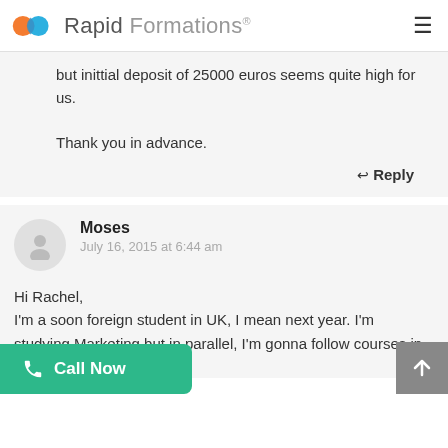Rapid Formations®
but inittial deposit of 25000 euros seems quite high for us.

Thank you in advance.
↩ Reply
Moses
July 16, 2015 at 6:44 am
Hi Rachel,
I'm a soon foreign student in UK, I mean next year. I'm studying Marketing but in parallel, I'm gonna follow courses in stock-broking. So
📞 Call Now